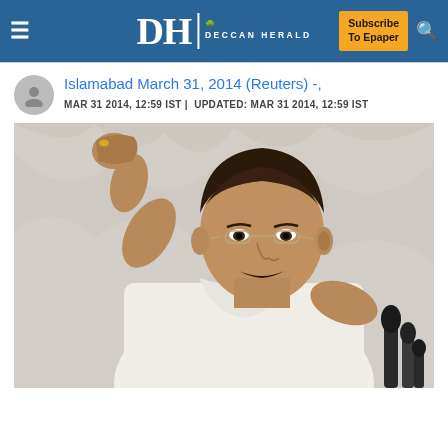DH DECCAN HERALD | Subscribe To Epaper
Islamabad March 31, 2014 (Reuters) -,
MAR 31 2014, 12:59 IST | UPDATED: MAR 31 2014, 12:59 IST
[Figure (photo): A man in white traditional clothing raising his right fist in a gesture of defiance or strength, wearing glasses, speaking at a podium with microphones, against a white/grey draped background.]